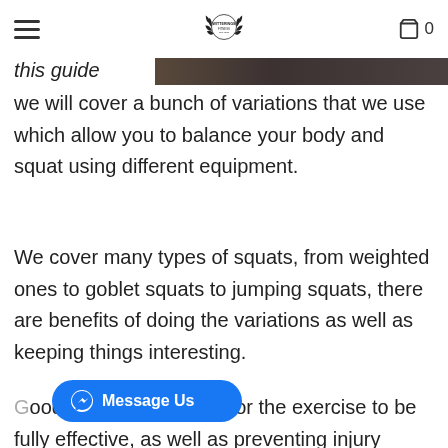Witterings Fitness — navigation header with hamburger menu, logo, and cart icon showing 0
[Figure (photo): Dark image strip partially visible at top of main content area]
this guide we will cover a bunch of variations that we use which allow you to balance your body and squat using different equipment.
We cover many types of squats, from weighted ones to goblet squats to jumping squats, there are benefits of doing the variations as well as keeping things interesting.
Good squat form allows for the exercise to be fully effective, as well as preventing injury
[Figure (screenshot): Blue Message Us button with Messenger icon]